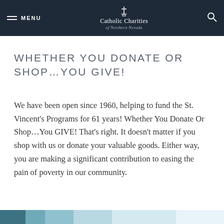MENU | Catholic Charities of Northern Nevada
WHETHER YOU DONATE OR SHOP…YOU GIVE!
We have been open since 1960, helping to fund the St. Vincent's Programs for 61 years! Whether You Donate Or Shop…You GIVE! That's right. It doesn't matter if you shop with us or donate your valuable goods. Either way, you are making a significant contribution to easing the pain of poverty in our community.